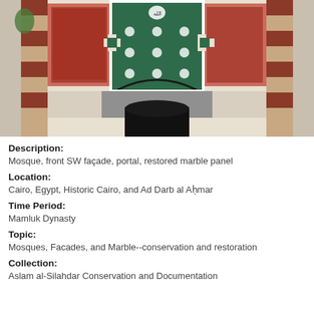[Figure (photo): Mosque front SW façade portal with restored marble panel showing ornate geometric and floral patterns in red, white, and dark green marble, with striped stone columns on sides and a black doorway at the bottom center]
Description:
Mosque, front SW façade, portal, restored marble panel
Location:
Cairo, Egypt, Historic Cairo, and Ad Darb al Aḥmar
Time Period:
Mamluk Dynasty
Topic:
Mosques, Facades, and Marble--conservation and restoration
Collection:
Aslam al-Silahdar Conservation and Documentation